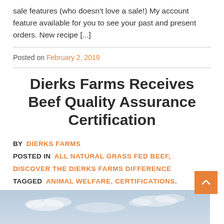sale features (who doesn't love a sale!) My account feature available for you to see your past and present orders. New recipe [...]
Posted on February 2, 2019
Dierks Farms Receives Beef Quality Assurance Certification
BY  DIERKS FARMS
POSTED IN  ALL NATURAL GRASS FED BEEF, DISCOVER THE DIERKS FARMS DIFFERENCE
TAGGED  ANIMAL WELFARE, CERTIFICATIONS, DIERKS FARMS, GRASS FED BEEF
[Figure (photo): Photograph strip showing a pale blue sky with faint clouds at the bottom of the page]